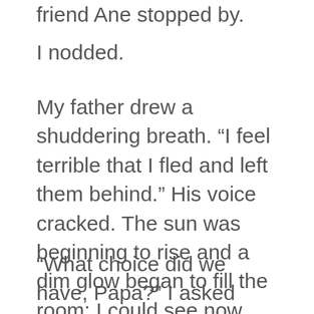friend Ane stopped by.
I nodded.
My father drew a shuddering breath. “I feel terrible that I fled and left them behind.” His voice cracked. The sun was beginning to rise and a dim glow began to fill the room; I could see now that his face was streaming with tears.
“What choice did we have, Papa?” I asked gently, putting my hand on his shoulder. “How would you have been able to rescue Aarón from the dungeon if you hadn’t had a